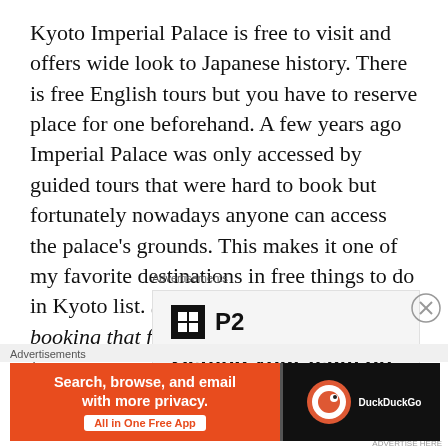Kyoto Imperial Palace is free to visit and offers wide look to Japanese history. There is free English tours but you have to reserve place for one beforehand. A few years ago Imperial Palace was only accessed by guided tours that were hard to book but fortunately nowadays anyone can access the palace's grounds. This makes it one of my favorite destinations in free things to do in Kyoto list. (I had so many problems booking that free tour during my Kyoto visit two years ago...)
Advertisements
[Figure (other): Advertisement box showing P2 logo (black square with grid icon and 'P2' text) and partial text 'Getting your team on']
Advertisements
[Figure (other): DuckDuckGo advertisement banner. Left orange section: 'Search, browse, and email with more privacy. All in One Free App'. Right dark section with DuckDuckGo logo and name.]